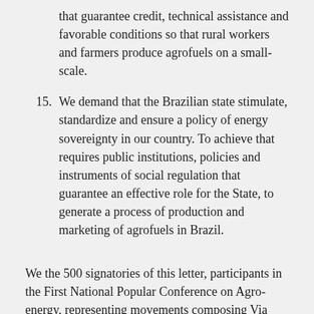that guarantee credit, technical assistance and favorable conditions so that rural workers and farmers produce agrofuels on a small-scale.
15. We demand that the Brazilian state stimulate, standardize and ensure a policy of energy sovereignty in our country. To achieve that requires public institutions, policies and instruments of social regulation that guarantee an effective role for the State, to generate a process of production and marketing of agrofuels in Brazil.
We the 500 signatories of this letter, participants in the First National Popular Conference on Agro-energy, representing movements composing Via Campesina, environmentalists, unions and pastoral groups.